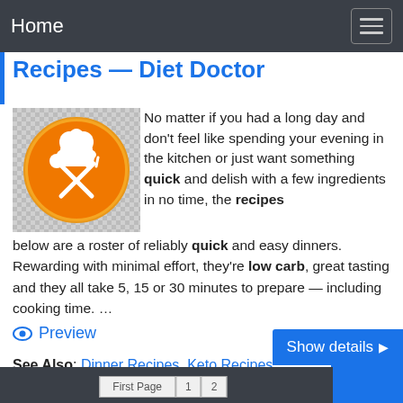Home
Recipes — Diet Doctor
[Figure (logo): Orange circle logo with white chef hat, crossed spoon and fork utensils icon]
No matter if you had a long day and don't feel like spending your evening in the kitchen or just want something quick and delish with a few ingredients in no time, the recipes below are a roster of reliably quick and easy dinners. Rewarding with minimal effort, they're low carb, great tasting and they all take 5, 15 or 30 minutes to prepare — including cooking time. …
👁 Preview
See Also: Dinner Recipes, Keto Recipes